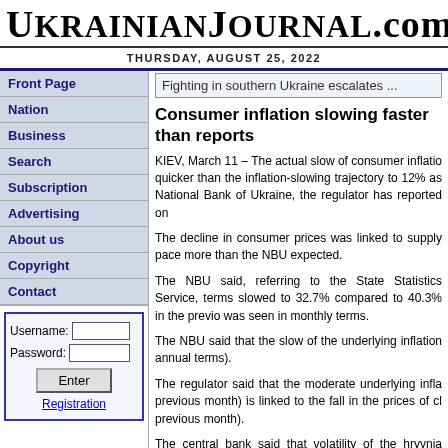UkrainianJournal.com
THURSDAY, AUGUST 25, 2022
Front Page
Nation
Business
Search
Subscription
Advertising
About us
Copyright
Contact
Fighting in southern Ukraine escalates ...
Consumer inflation slowing faster than reports
KIEV, March 11 – The actual slow of consumer inflation quicker than the inflation-slowing trajectory to 12% as National Bank of Ukraine, the regulator has reported on
The decline in consumer prices was linked to supply pace more than the NBU expected.
The NBU said, referring to the State Statistics Service, terms slowed to 32.7% compared to 40.3% in the previous was seen in monthly terms.
The NBU said that the slow of the underlying inflation annual terms).
The regulator said that the moderate underlying infla previous month) is linked to the fall in the prices of cl previous month).
The central bank said that volatility of the hryvnia excha in prices of imported goods that are used to calculate